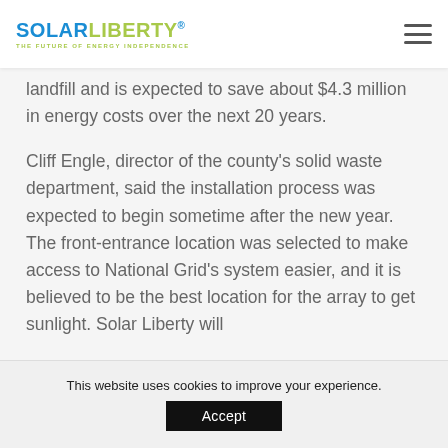SOLARLIBERTY® — THE FUTURE OF ENERGY INDEPENDENCE
landfill and is expected to save about $4.3 million in energy costs over the next 20 years.
Cliff Engle, director of the county's solid waste department, said the installation process was expected to begin sometime after the new year. The front-entrance location was selected to make access to National Grid's system easier, and it is believed to be the best location for the array to get sunlight. Solar Liberty will
This website uses cookies to improve your experience.
Accept